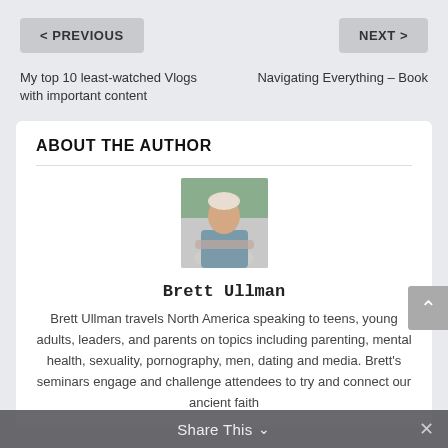< PREVIOUS
NEXT >
My top 10 least-watched Vlogs with important content
Navigating Everything – Book
ABOUT THE AUTHOR
[Figure (photo): Photo of Brett Ullman, a man with arms crossed, standing outdoors with trees in the background, wearing a grey t-shirt.]
Brett Ullman
Brett Ullman travels North America speaking to teens, young adults, leaders, and parents on topics including parenting, mental health, sexuality, pornography, men, dating and media. Brett's seminars engage and challenge attendees to try and connect our ancient faith
Share This